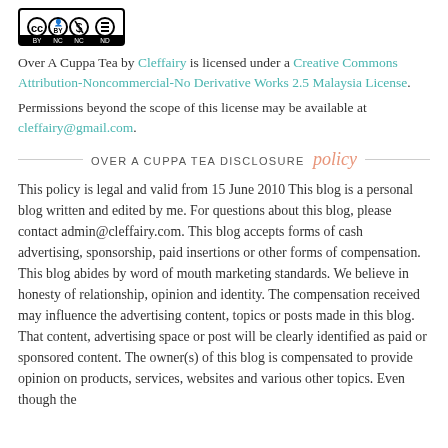[Figure (logo): Creative Commons license icons: CC BY NC ND in a black bordered rectangle]
Over A Cuppa Tea by Cleffairy is licensed under a Creative Commons Attribution-Noncommercial-No Derivative Works 2.5 Malaysia License.
Permissions beyond the scope of this license may be available at cleffairy@gmail.com.
OVER A CUPPA TEA DISCLOSURE policy
This policy is legal and valid from 15 June 2010 This blog is a personal blog written and edited by me. For questions about this blog, please contact admin@cleffairy.com. This blog accepts forms of cash advertising, sponsorship, paid insertions or other forms of compensation. This blog abides by word of mouth marketing standards. We believe in honesty of relationship, opinion and identity. The compensation received may influence the advertising content, topics or posts made in this blog. That content, advertising space or post will be clearly identified as paid or sponsored content. The owner(s) of this blog is compensated to provide opinion on products, services, websites and various other topics. Even though the